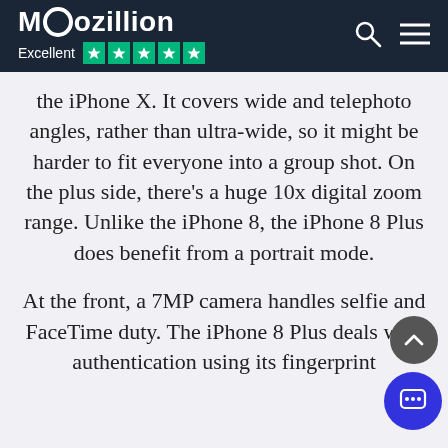Moozillion — Excellent ★★★★★
the iPhone X. It covers wide and telephoto angles, rather than ultra-wide, so it might be harder to fit everyone into a group shot. On the plus side, there's a huge 10x digital zoom range. Unlike the iPhone 8, the iPhone 8 Plus does benefit from a portrait mode.
At the front, a 7MP camera handles selfie and FaceTime duty. The iPhone 8 Plus deals with authentication using its fingerprint